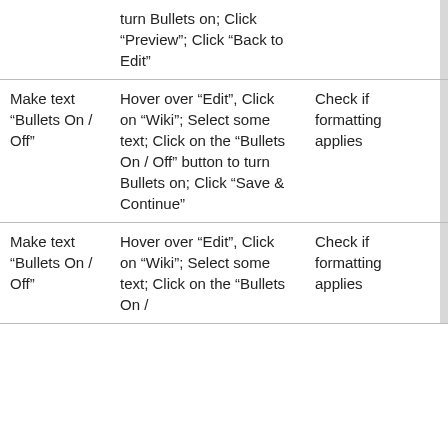|  | turn Bullets on; Click "Preview"; Click "Back to Edit" |  | Not Tested | - |
| Make text "Bullets On / Off" | Hover over "Edit", Click on "Wiki"; Select some text; Click on the "Bullets On / Off" button to turn Bullets on; Click "Save & Continue" | Check if formatting applies | Not Tested | - |
| Make text "Bullets On / Off" | Hover over "Edit", Click on "Wiki"; Select some text; Click on the "Bullets On / | Check if formatting applies | Not Tested | - |